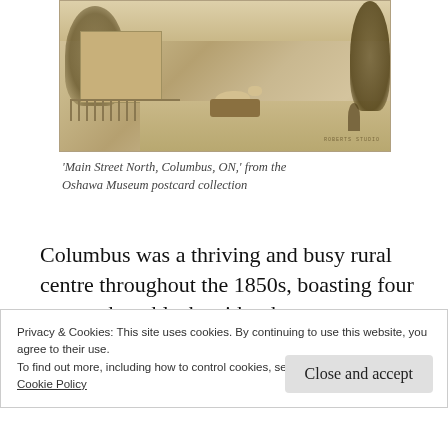[Figure (photo): Sepia-toned historical postcard photograph of Main Street North, Columbus, ON, showing buildings, a horse-drawn cart, fence, and trees along a rural street.]
'Main Street North, Columbus, ON,' from the Oshawa Museum postcard collection
Columbus was a thriving and busy rural centre throughout the 1850s, boasting four stores, three blacksmiths shops, two carpenter shops, four shoe shops, two tailor shops, two
Privacy & Cookies: This site uses cookies. By continuing to use this website, you agree to their use.
To find out more, including how to control cookies, see here:
Cookie Policy
Close and accept